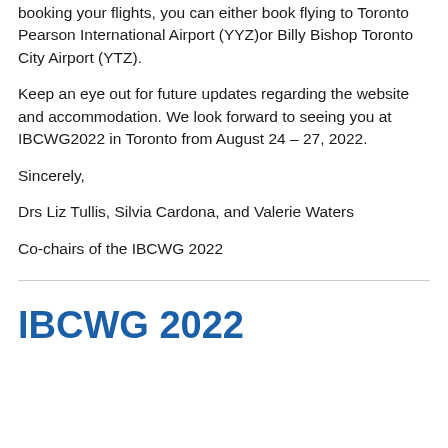booking your flights, you can either book flying to Toronto Pearson International Airport (YYZ)or Billy Bishop Toronto City Airport (YTZ).
Keep an eye out for future updates regarding the website and accommodation. We look forward to seeing you at IBCWG2022 in Toronto from August 24 – 27, 2022.
Sincerely,
Drs Liz Tullis, Silvia Cardona, and Valerie Waters
Co-chairs of the IBCWG 2022
IBCWG 2022